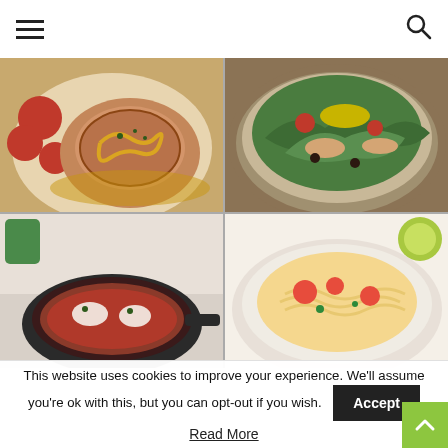Navigation header with hamburger menu and search icon
[Figure (photo): Four food photos in a 2x2 grid: top-left shows a pork chop with mustard sauce and radishes on a white plate; top-right shows a tuna/chicken salad in a bowl with mixed greens and tomatoes; bottom-left shows a cast iron skillet with baked dish; bottom-right shows a bowl with pasta and tomatoes]
This website uses cookies to improve your experience. We'll assume you're ok with this, but you can opt-out if you wish.
Accept
Read More